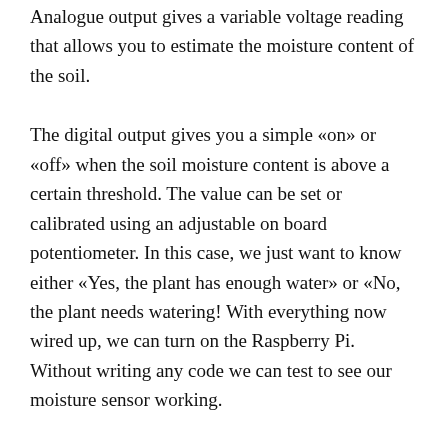Analogue output gives a variable voltage reading that allows you to estimate the moisture content of the soil.
The digital output gives you a simple «on» or «off» when the soil moisture content is above a certain threshold. The value can be set or calibrated using an adjustable on board potentiometer. In this case, we just want to know either «Yes, the plant has enough water» or «No, the plant needs watering! With everything now wired up, we can turn on the Raspberry Pi. Without writing any code we can test to see our moisture sensor working.
When power is applied you should see the power light illuminate with the 4 pins facing down, the power led is the one on the right. When the power led turns on...